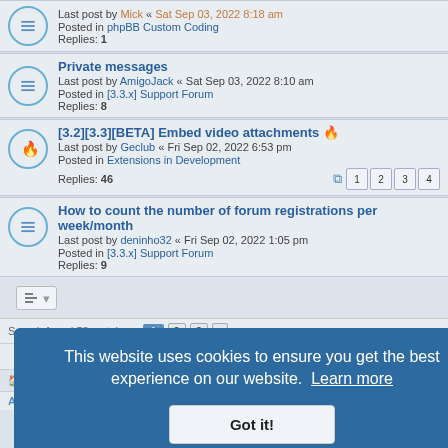Last post by Mick « Sat Sep 03, 2022 8:18 am
Posted in phpBB Custom Coding
Replies: 1
Private messages
Last post by AmigoJack « Sat Sep 03, 2022 8:10 am
Posted in [3.3.x] Support Forum
Replies: 8
[3.2][3.3][BETA] Embed video attachments
Last post by Geclub « Fri Sep 02, 2022 6:53 pm
Posted in Extensions in Development
Replies: 46
How to count the number of forum registrations per week/month
Last post by deninho32 « Fri Sep 02, 2022 1:05 pm
Posted in [3.3.x] Support Forum
Replies: 9
Search found 58 matches  1  2  3  >
Jump to
Board index   Contact us   Delete cookies   All times are UTC
ADVERTISEMENTS
This website uses cookies to ensure you get the best experience on our website.  Learn more
Got it!